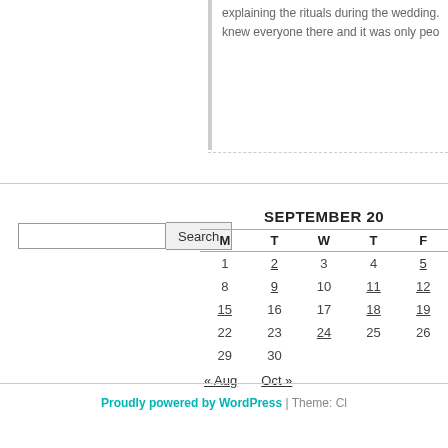explaining the rituals during the wedding. knew everyone there and it was only peo
| M | T | W | T | F |
| --- | --- | --- | --- | --- |
| 1 | 2 | 3 | 4 | 5 |
| 8 | 9 | 10 | 11 | 12 |
| 15 | 16 | 17 | 18 | 19 |
| 22 | 23 | 24 | 25 | 26 |
| 29 | 30 |  |  |  |
« Aug    Oct »
Proudly powered by WordPress | Theme: Cl